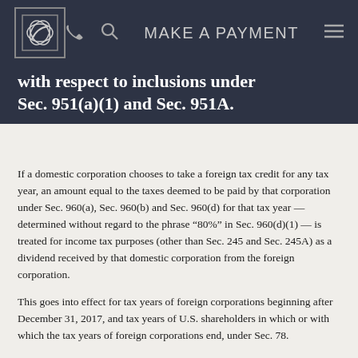Navigation bar with logo, phone, search, make a payment, and menu icons
with respect to inclusions under Sec. 951(a)(1) and Sec. 951A.
If a domestic corporation chooses to take a foreign tax credit for any tax year, an amount equal to the taxes deemed to be paid by that corporation under Sec. 960(a), Sec. 960(b) and Sec. 960(d) for that tax year — determined without regard to the phrase ‘80%” in Sec. 960(d)(1) — is treated for income tax purposes (other than Sec. 245 and Sec. 245A) as a dividend received by that domestic corporation from the foreign corporation.
This goes into effect for tax years of foreign corporations beginning after December 31, 2017, and tax years of U.S. shareholders in which or with which the tax years of foreign corporations end, under Sec. 78.